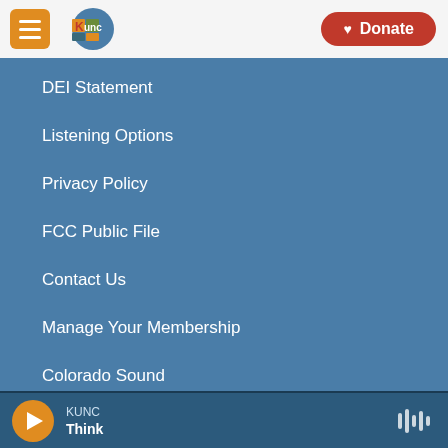KUNC — Donate
DEI Statement
Listening Options
Privacy Policy
FCC Public File
Contact Us
Manage Your Membership
Colorado Sound
KUNC — Think